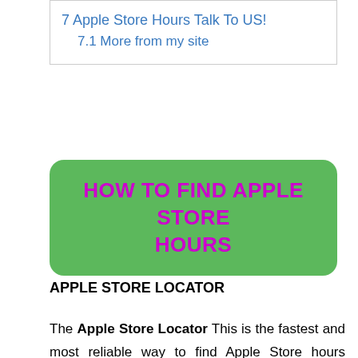7 Apple Store Hours Talk To Us!
7.1 More from my site
HOW TO FIND APPLE STORE HOURS
APPLE STORE LOCATOR
The Apple Store Locator This is the fastest and most reliable way to find Apple Store hours anywhere in the world. This will take you directly to the official store finder website. It has a clean layout and photos of all Apple stores around the